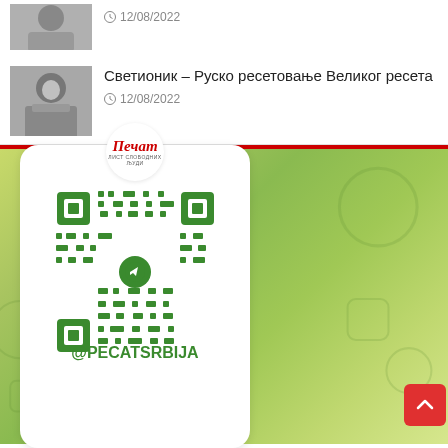[Figure (photo): Grayscale portrait photo of a man, partially visible at top of page]
12/08/2022
[Figure (photo): Grayscale portrait photo of a bearded man in a suit]
Светионик – Руско ресетовање Великог ресета
12/08/2022
[Figure (other): QR code card for @PECATSRBIJA Telegram channel, with Печат logo at top, on a green gradient background]